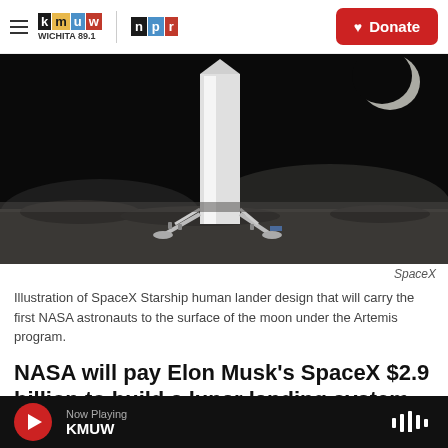kmuw WICHITA 89.1 | npr  Donate
[Figure (photo): Illustration of SpaceX Starship human lander on the surface of the moon with astronauts visible, black and white tones, moon in background sky.]
SpaceX
Illustration of SpaceX Starship human lander design that will carry the first NASA astronauts to the surface of the moon under the Artemis program.
NASA will pay Elon Musk's SpaceX $2.9 billion to build a lunar landing system to ferry astronauts to the surface of the moon
Now Playing KMUW